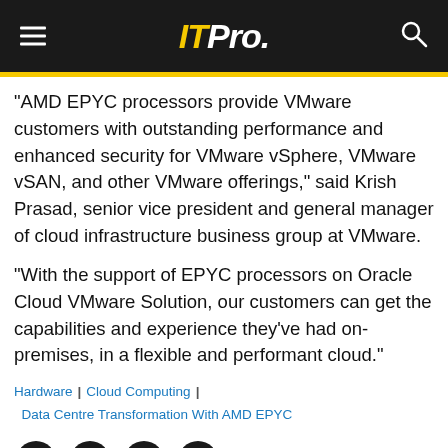ITPro.
“AMD EPYC processors provide VMware customers with outstanding performance and enhanced security for VMware vSphere, VMware vSAN, and other VMware offerings,” said Krish Prasad, senior vice president and general manager of cloud infrastructure business group at VMware.
“With the support of EPYC processors on Oracle Cloud VMware Solution, our customers can get the capabilities and experience they’ve had on-premises, in a flexible and performant cloud.”
Hardware | Cloud Computing | Data Centre Transformation With AMD EPYC
[Figure (other): Social sharing icons: Facebook, Twitter, LinkedIn, Email]